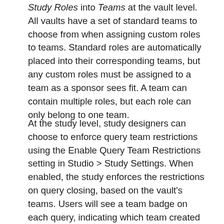Study Roles into Teams at the vault level. All vaults have a set of standard teams to choose from when assigning custom roles to teams. Standard roles are automatically placed into their corresponding teams, but any custom roles must be assigned to a team as a sponsor sees fit. A team can contain multiple roles, but each role can only belong to one team.
At the study level, study designers can choose to enforce query team restrictions using the Enable Query Team Restrictions setting in Studio > Study Settings. When enabled, the study enforces the restrictions on query closing, based on the vault's teams. Users will see a team badge on each query, indicating which team created the manual query. The Close Query button is disabled for users who are not in the same team as the user who created the query. Users from any team who have permission to comment on queries can still do so, regardless of the